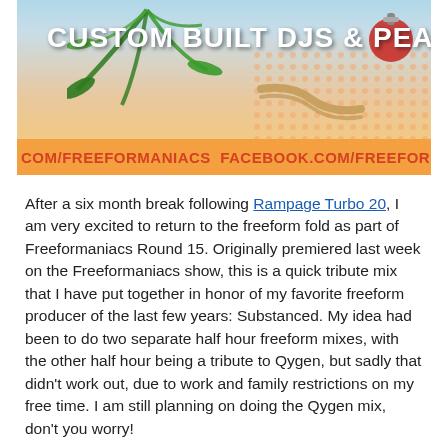[Figure (photo): Banner image with tropical beach background, palm leaf, rope elements, and text 'CUSTOM BUILT DJS & PEARSA' in white bold letters. Bottom orange band reads 'COM/FREEFORMANIACS FACEBOOK.COM/FREEFORMANIACS FA']
After a six month break following Rampage Turbo 20, I am very excited to return to the freeform fold as part of Freeformaniacs Round 15. Originally premiered last week on the Freeformaniacs show, this is a quick tribute mix that I have put together in honor of my favorite freeform producer of the last few years: Substanced. My idea had been to do two separate half hour freeform mixes, with the other half hour being a tribute to Qygen, but sadly that didn't work out, due to work and family restrictions on my free time. I am still planning on doing the Qygen mix, don't you worry!
Even so, I hope this will be a fun and diverting listen, as I have quite quickly bashed together nine of Substanced's original tunes and remixes, from the melancholic glory of the bootleg mix of Killa to the rolling thunder of Jinpachi and the teeth-grinding madness of Facemelt, finishing with the euphoric explosion that is Exodus … well, I think the result pretty much speaks for itself.
You cannot argue with music like this!